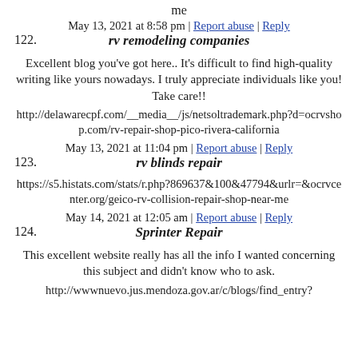me
122. rv remodeling companies
May 13, 2021 at 8:58 pm | Report abuse | Reply
Excellent blog you've got here.. It’s difficult to find high-quality writing like yours nowadays. I truly appreciate individuals like you! Take care!!
http://delawarecpf.com/__media__/js/netsoltrademark.php?d=ocrvshop.com/rv-repair-shop-pico-rivera-california
123. rv blinds repair
May 13, 2021 at 11:04 pm | Report abuse | Reply
https://s5.histats.com/stats/r.php?869637&100&47794&urlr=&ocrvcenter.org/geico-rv-collision-repair-shop-near-me
124. Sprinter Repair
May 14, 2021 at 12:05 am | Report abuse | Reply
This excellent website really has all the info I wanted concerning this subject and didn’t know who to ask.
http://wwwnuevo.jus.mendoza.gov.ar/c/blogs/find_entry?